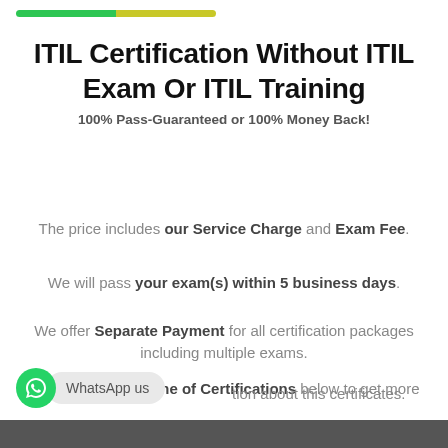[Figure (other): Gradient top bar: green to yellow-green]
ITIL Certification Without ITIL Exam Or ITIL Training
100% Pass-Guaranteed or 100% Money Back!
The price includes our Service Charge and Exam Fee.
We will pass your exam(s) within 5 business days.
We offer Separate Payment for all certification packages including multiple exams.
Please click the Name of Certifications below to get more information about this certificates.
[Figure (other): WhatsApp us button with green icon and grey pill label]
[Figure (photo): Partial dark image at bottom of page]